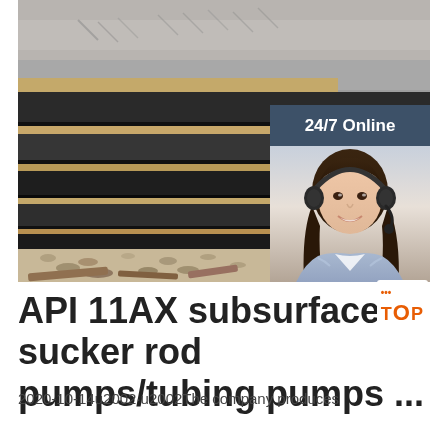[Figure (photo): Photo of stacked steel plates/bars at an industrial site, showing layered metal slabs with a gravel/sandy ground visible at the bottom. A customer service chat widget overlay appears in the upper right corner showing '24/7 Online', a female agent with headset, 'Click here for free chat!' text, and an orange QUOTATION button.]
API 11AX subsurface sucker rod pumps/tubing pumps ...
2020-10-14u2002·u2002The company produces